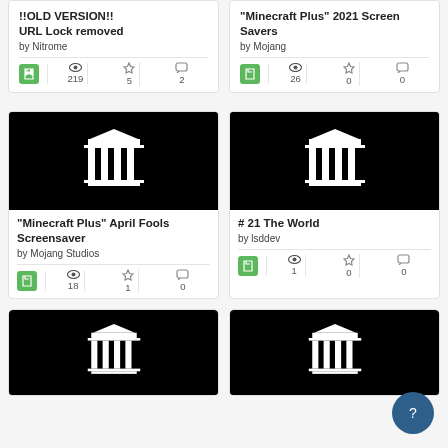[Figure (screenshot): App listing card: !!OLD VERSION!! URL Lock removed by Nitrome, with stats: 219 views, 5 stars, 2 comments]
[Figure (screenshot): App listing card: Minecraft Plus 2021 Screen Savers by Mojang, with stats: 26 views, 0 stars, 0 comments]
[Figure (screenshot): App listing card with black thumbnail showing white temple icon: Minecraft Plus April Fools Screensaver by Mojang Studios, stats: 18 views, 1 star, 0 comments]
[Figure (screenshot): App listing card with black thumbnail showing white temple icon: # 21 The World by lsddev, stats: 1 views, 0 stars, 0 comments]
[Figure (screenshot): Partial app listing card with black thumbnail showing white temple icon (bottom of page, left)]
[Figure (screenshot): Partial app listing card with black thumbnail showing white temple icon (bottom of page, right)]